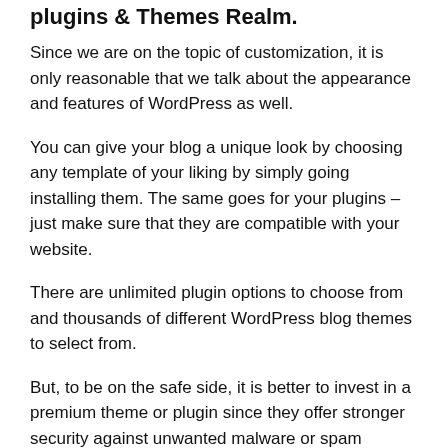Plugins & Themes Realm.
Since we are on the topic of customization, it is only reasonable that we talk about the appearance and features of WordPress as well.
You can give your blog a unique look by choosing any template of your liking by simply going installing them. The same goes for your plugins – just make sure that they are compatible with your website.
There are unlimited plugin options to choose from and thousands of different WordPress blog themes to select from.
But, to be on the safe side, it is better to invest in a premium theme or plugin since they offer stronger security against unwanted malware or spam attacks that could harm your website.